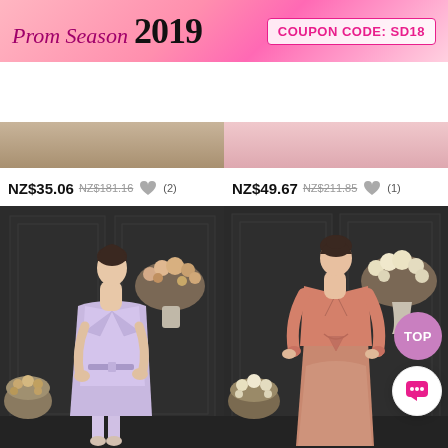[Figure (screenshot): Promotional banner for Prom Season 2019 with pink gradient background. Left side shows cursive text 'Prom Season 2019'. Right side shows coupon code box: 'COUPON CODE: SD18']
[Figure (screenshot): Navigation bar with hamburger menu, SherriDress logo, search icon, wishlist icon with badge 0, and cart icon with badge 0]
[Figure (screenshot): Partial product images at top of product listing]
NZ$35.06 NZ$181.16 (2)
NZ$49.67 NZ$211.85 (1)
[Figure (photo): Model wearing lavender/lilac satin long blazer coat with matching short dress, standing in front of dark grey paneled wall with flower arrangements]
[Figure (photo): Model wearing dusty rose/salmon pink blazer jacket with beaded lace long skirt gown, standing in front of dark grey paneled wall with flower arrangements. TOP and chat buttons visible at bottom right.]